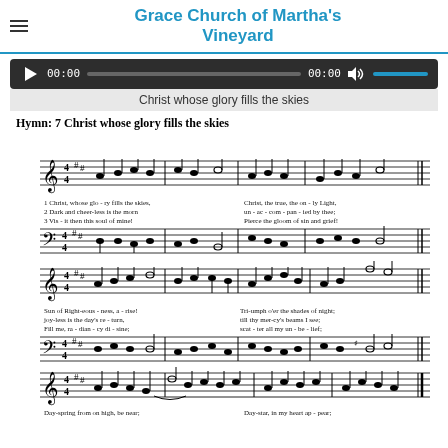Grace Church of Martha's Vineyard
[Figure (other): Audio player with play button, 00:00 timestamps, progress bar, volume control]
Christ whose glory fills the skies
Hymn: 7 Christ whose glory fills the skies
[Figure (other): Musical score for Hymn 7 Christ whose glory fills the skies, three staves showing treble and bass clef notation with three verses of lyrics: 1. Christ, whose glory fills the skies, Christ, the true, the on-ly Light; 2. Dark and cheer-less is the morn un-ac-com-pan-ied by thee; 3. Vis-it then this soul of mine! Pierce the gloom of sin and grief! Sun of Right-eous-ness, a-rise! Tri-umph o'er the shades of night; joy-less is the day's re-turn, till thy mer-cy's beams I see; Fill me, ra-dian-cy di-sine; scat-ter all my un-be-lief; Day-spring from on high, be near; Day-star, in my heart ap-pear; till they in-ward light im-part, glad my eyes, and warm my heart; more and more thy-self dis-play, shin-ing to the per-fect day.]